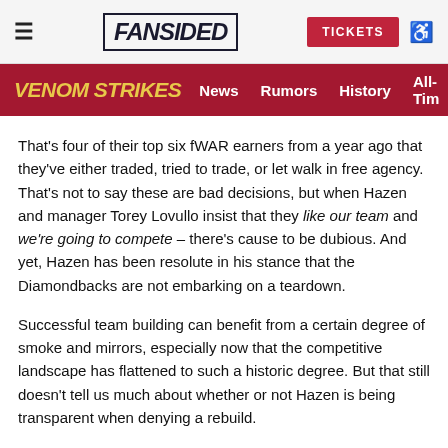FanSided | Venom Strikes — News, Rumors, History, All-Time
That's four of their top six fWAR earners from a year ago that they've either traded, tried to trade, or let walk in free agency. That's not to say these are bad decisions, but when Hazen and manager Torey Lovullo insist that they like our team and we're going to compete – there's cause to be dubious. And yet, Hazen has been resolute in his stance that the Diamondbacks are not embarking on a teardown.
Successful team building can benefit from a certain degree of smoke and mirrors, especially now that the competitive landscape has flattened to such a historic degree. But that still doesn't tell us much about whether or not Hazen is being transparent when denying a rebuild.
Hazen's strategy as it pertains to staff ace Zack Greinke does, however, tell us something. To say Greinke is worth the money owed him because of his on-field performance value to a contending team, while also claiming to be a contending team,